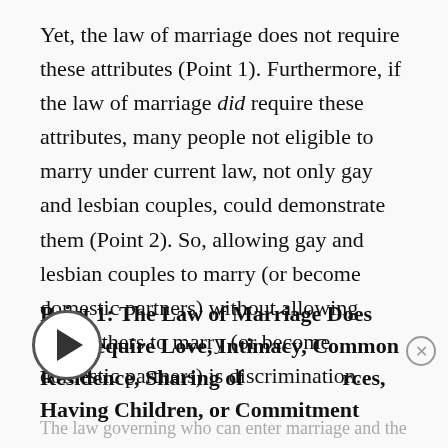Yet, the law of marriage does not require these attributes (Point 1). Furthermore, if the law of marriage did require these attributes, many people not eligible to marry under current law, not only gay and lesbian couples, could demonstrate them (Point 2). So, allowing gay and lesbian couples to marry (or become domestic partners) without allowing these others to marry (or become domestic partners) is discrimination.
Point 1: The Law of Marriage Does Not Require Love, Intimacy, Common Residence, Sharing of Resources, Having Children, or Commitment
The law governing who can enter marriage and the